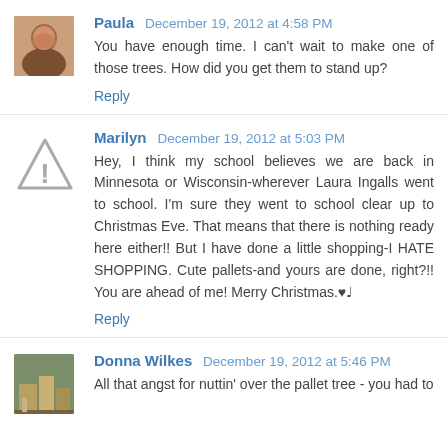Paula  December 19, 2012 at 4:58 PM
You have enough time. I can't wait to make one of those trees. How did you get them to stand up?
Reply
Marilyn  December 19, 2012 at 5:03 PM
Hey, I think my school believes we are back in Minnesota or Wisconsin-wherever Laura Ingalls went to school. I'm sure they went to school clear up to Christmas Eve. That means that there is nothing ready here either!! But I have done a little shopping-I HATE SHOPPING. Cute pallets-and yours are done, right?!! You are ahead of me! Merry Christmas.♥♩
Reply
Donna Wilkes  December 19, 2012 at 5:46 PM
All that angst for nuttin' over the pallet tree - you had to